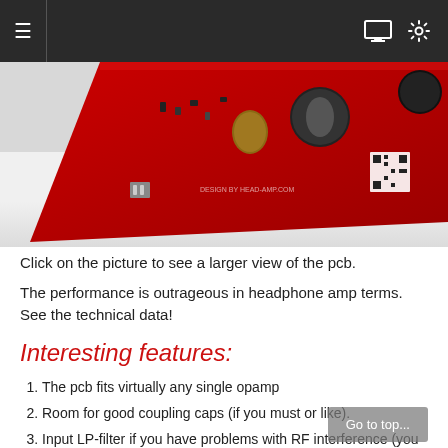≡  [monitor icon] [gear icon]
[Figure (photo): Close-up photo of a red PCB (printed circuit board) with electronic components including capacitors, resistors, and SMD parts visible on the board surface. The board has a bright red solder mask with white silkscreen markings.]
Click on the picture to see a larger view of the pcb.
The performance is outrageous in headphone amp terms. See the technical data!
Interesting features:
The pcb fits virtually any single opamp
Room for good coupling caps (if you must or like).
Input LP-filter if you have problems with RF interference (you should have a filter though).
High speed and high performance SMD current feedback amp